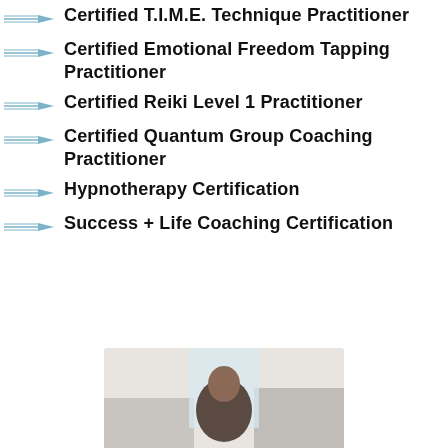Certified T.I.M.E. Technique Practitioner
Certified Emotional Freedom Tapping Practitioner
Certified Reiki Level 1 Practitioner
Certified Quantum Group Coaching Practitioner
Hypnotherapy Certification
Success + Life Coaching Certification
[Figure (photo): Partial photo of a person, visible from approximately mid-torso up, cropped at the bottom of the page.]